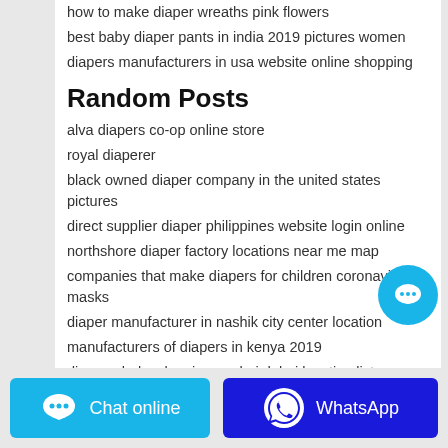how to make diaper wreaths pink flowers
best baby diaper pants in india 2019 pictures women
diapers manufacturers in usa website online shopping
Random Posts
alva diapers co-op online store
royal diaperer
black owned diaper company in the united states pictures
direct supplier diaper philippines website login online
northshore diaper factory locations near me map
companies that make diapers for children coronavirus masks
diaper manufacturer in nashik city center location
manufacturers of diapers in kenya 2019
diaper wholesalers in mumbai dubai location list
diaper wholesale market near me location free app
[Figure (illustration): Cyan circular chat bubble button with ellipsis icon]
[Figure (illustration): Cyan 'Chat online' button with speech bubble icon]
[Figure (illustration): Dark blue 'WhatsApp' button with WhatsApp logo icon]